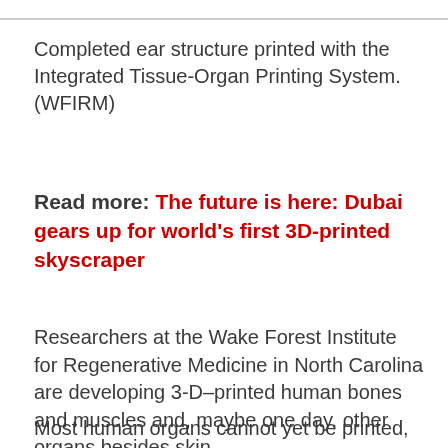Completed ear structure printed with the Integrated Tissue-Organ Printing System. (WFIRM)
Read more: The future is here: Dubai gears up for world's first 3D-printed skyscraper
Researchers at the Wake Forest Institute for Regenerative Medicine in North Carolina are developing 3-D–printed human bones and muscles and, maybe one day, other organs besides skin.
Most human organs cannot yet be printed,